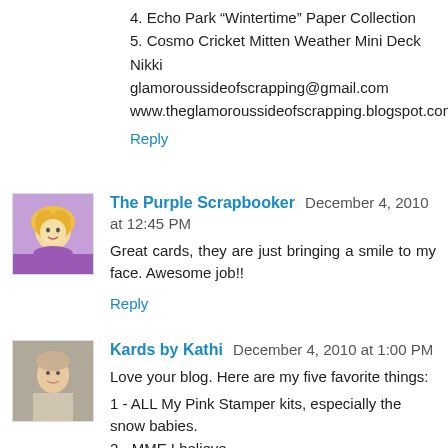4. Echo Park "Wintertime" Paper Collection
5. Cosmo Cricket Mitten Weather Mini Deck
Nikki
glamoroussideofscrapping@gmail.com
www.theglamoroussideofscrapping.blogspot.com
Reply
The Purple Scrapbooker  December 4, 2010 at 12:45 PM
Great cards, they are just bringing a smile to my face. Awesome job!!
Reply
Kards by Kathi  December 4, 2010 at 1:00 PM
Love your blog. Here are my five favorite things:
1 - ALL My Pink Stamper kits, especially the snow babies.
2 - MME I believe
3 - Lil Robot- paper and accessories kit
4 - MME Fine and Dandy products.
5 - Echo Park "Wintertime" Paper Collection